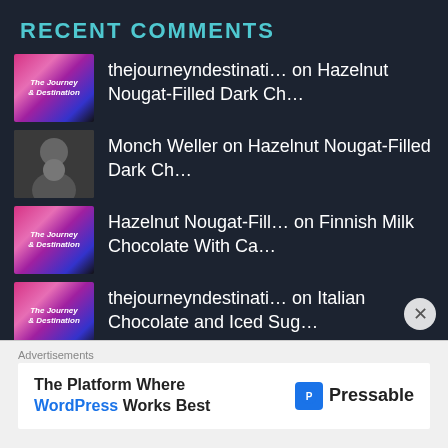RECENT COMMENTS
thejourneyndestinati… on Hazelnut Nougat-Filled Dark Ch…
Monch Weller on Hazelnut Nougat-Filled Dark Ch…
Hazelnut Nougat-Fill… on Finnish Milk Chocolate With Ca…
thejourneyndestinati… on Italian Chocolate and Iced Sug…
thejourneyndestinati… on Cherry Blossom (Sakura) and Gr…
Advertisements
The Platform Where WordPress Works Best   Pressable